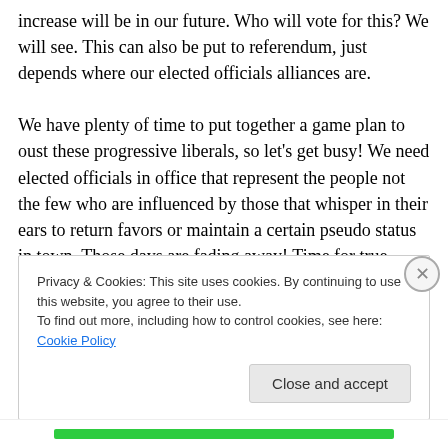increase will be in our future. Who will vote for this? We will see. This can also be put to referendum, just depends where our elected officials alliances are.

We have plenty of time to put together a game plan to oust these progressive liberals, so let's get busy! We need elected officials in office that represent the people not the few who are influenced by those that whisper in their ears to return favors or maintain a certain pseudo status in town. Those days are fading away! Time for true patriots to direct the tide back in favor of the citizens of Bradley
Privacy & Cookies: This site uses cookies. By continuing to use this website, you agree to their use.
To find out more, including how to control cookies, see here: Cookie Policy